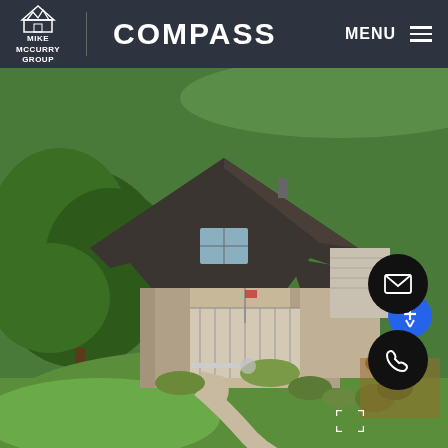Mike McCurry Group | COMPASS   MENU
[Figure (photo): Aerial drone photo of a large two-story brick and beige siding residential home with dark gray shingled roof, surrounded by green lawn, large trees on the left, curved concrete walkway leading to front porch, landscaped garden beds, viewed from above at an angle.]